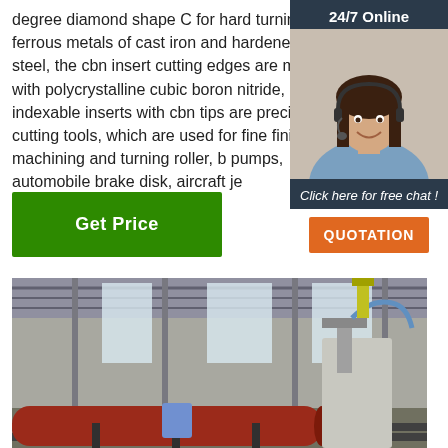degree diamond shape C for hard turning ferrous metals of cast iron and hardened steel, the cbn insert cutting edges are made with polycrystalline cubic boron nitride, indexable inserts with cbn tips are precision cutting tools, which are used for fine finish machining and turning roller, b pumps, automobile brake disk, aircraft je
[Figure (other): Customer service agent widget with '24/7 Online' header, photo of woman with headset, 'Click here for free chat!' text, and orange QUOTATION button]
Get Price
[Figure (photo): Factory floor showing industrial machinery with large steel pipe being processed on an automated production line]